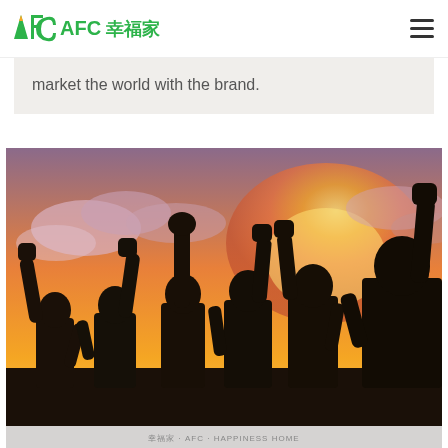AFC 幸福家
market the world with the brand.
[Figure (photo): Silhouettes of a group of people with raised fists against a warm sunset sky with dramatic clouds — a celebratory or triumphant scene.]